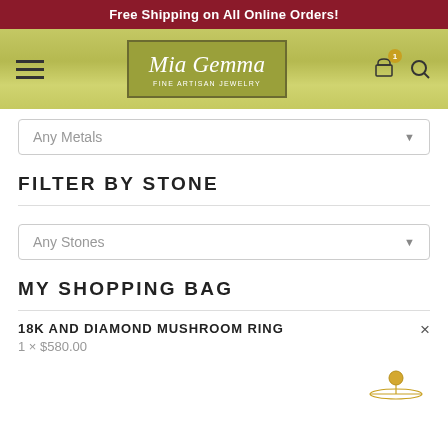Free Shipping on All Online Orders!
[Figure (logo): Mia Gemma Fine Artisan Jewelry logo with navigation header including hamburger menu, cart icon with badge '1', and search icon]
Any Metals
FILTER BY STONE
Any Stones
MY SHOPPING BAG
18K AND DIAMOND MUSHROOM RING
1 × $580.00